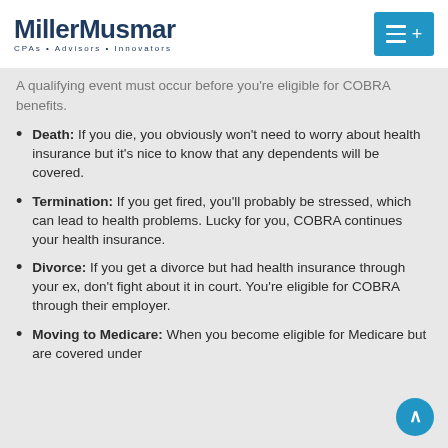MillerMusmar CPAs · Advisors · Innovators
A qualifying event must occur before you're eligible for COBRA benefits.
Death: If you die, you obviously won't need to worry about health insurance but it's nice to know that any dependents will be covered.
Termination: If you get fired, you'll probably be stressed, which can lead to health problems. Lucky for you, COBRA continues your health insurance.
Divorce: If you get a divorce but had health insurance through your ex, don't fight about it in court. You're eligible for COBRA through their employer.
Moving to Medicare: When you become eligible for Medicare but are covered under